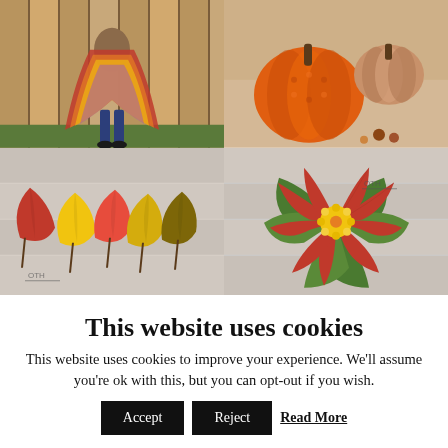[Figure (photo): Four crochet photos in a 2x2 grid: top-left shows a person wearing a colorful crochet shawl/wrap standing in front of a wooden fence; top-right shows orange crocheted pumpkins on a rustic background; bottom-left shows multiple crocheted autumn leaves in red, yellow, orange, and brown colors with OTH watermark; bottom-right shows a large crocheted red poinsettia flower with yellow center on a green background with OTH watermark]
This website uses cookies
This website uses cookies to improve your experience. We'll assume you're ok with this, but you can opt-out if you wish.
Accept | Reject | Read More